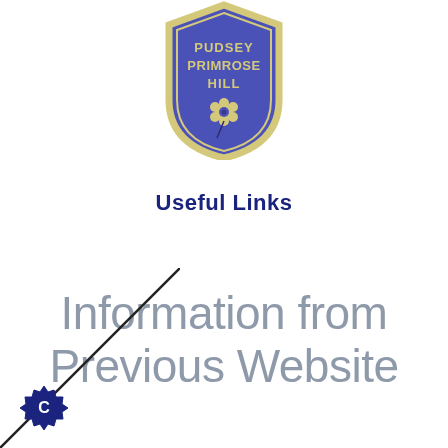[Figure (logo): Pudsey Primrose Hill school badge/crest — blue shield shape with gold border, text 'PUDSEY PRIMROSE HILL' in gold letters, flower emblem below]
Useful Links
Information from Previous Website